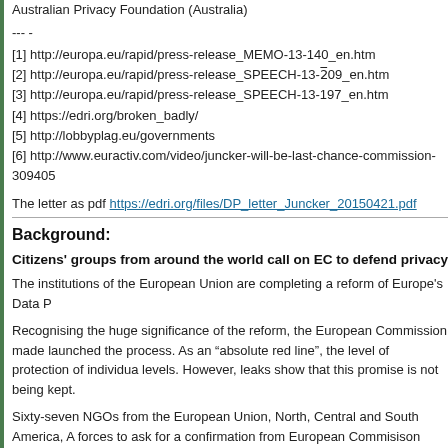Australian Privacy Foundation (Australia)
--- -
[1] http://europa.eu/rapid/press-release_MEMO-13-140_en.htm
[2] http://europa.eu/rapid/press-release_SPEECH-13-209_en.htm
[3] http://europa.eu/rapid/press-release_SPEECH-13-197_en.htm
[4] https://edri.org/broken_badly/
[5] http://lobbyplag.eu/governments
[6] http://www.euractiv.com/video/juncker-will-be-last-chance-commission-309405
The letter as pdf https://edri.org/files/DP_letter_Juncker_20150421.pdf
Background:
Citizens' groups from around the world call on EC to defend privacy
The institutions of the European Union are completing a reform of Europe's Data P
Recognising the huge significance of the reform, the European Commission made launched the process. As an "absolute red line", the level of protection of individua levels. However, leaks show that this promise is not being kept.
Sixty-seven NGOs from the European Union, North, Central and South America, A forces to ask for a confirmation from European Commisison President Jean-Clauc respect its promise.
"Without leadership from President Juncker, the right to privacy, not just in Europe undermined", said Joe McNamee, Executive Director of European Digital Rights, t "We hope and expect the Commission President wil uphold the integrity and indep short, rapid response to our question."